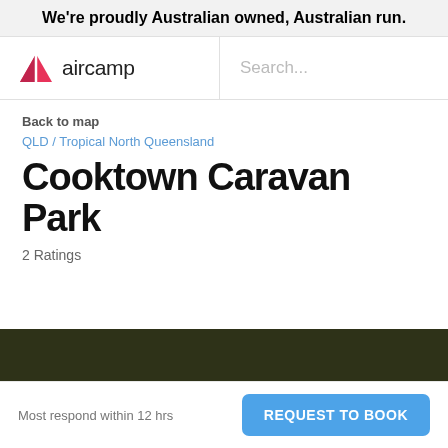We're proudly Australian owned, Australian run.
[Figure (logo): Aircamp logo with pink triangle tent icon and 'aircamp' text]
Search...
Back to map
QLD / Tropical North Queensland
Cooktown Caravan Park
2 Ratings
Most respond within 12 hrs
REQUEST TO BOOK